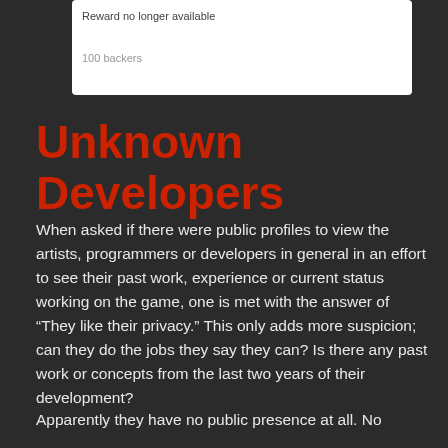[Figure (screenshot): A white UI box showing 'Reward no longer available' and '100 backers']
Unknown Developers
When asked if there were public profiles to view the artists, programmers or developers in general in an effort to see their past work, experience or current status working on the game, one is met with the answer of “They like their privacy.” This only adds more suspicion; can they do the jobs they say they can? Is there any past work or concepts from the last two years of their development?
Apparently they have no public presence at all. No